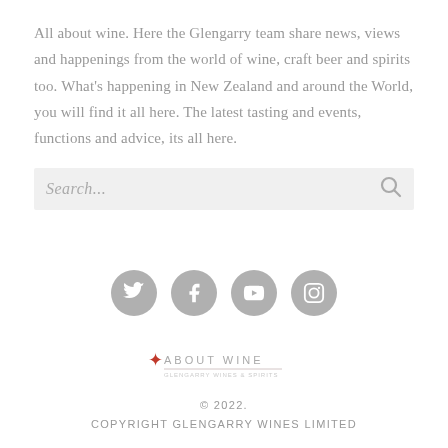All about wine. Here the Glengarry team share news, views and happenings from the world of wine, craft beer and spirits too. What's happening in New Zealand and around the World, you will find it all here. The latest tasting and events, functions and advice, its all here.
[Figure (other): Search input bar with placeholder text 'Search...' and a magnifying glass icon on the right]
[Figure (other): Four social media icon buttons (Twitter, Facebook, YouTube, Instagram) displayed as grey circles with white icons]
[Figure (logo): About Wine logo with a small red wine glass icon and text 'ABOUT WINE' with a tagline below]
© 2022.
COPYRIGHT GLENGARRY WINES LIMITED